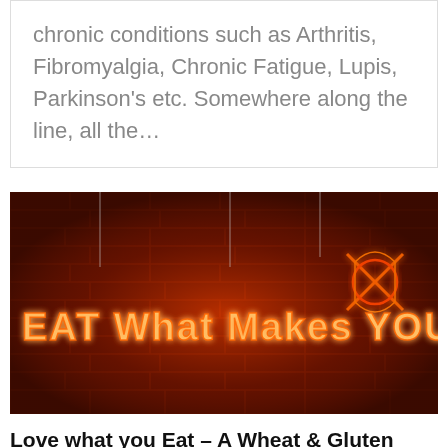chronic conditions such as Arthritis, Fibromyalgia, Chronic Fatigue, Lupis, Parkinson's etc. Somewhere along the line, all the…
[Figure (photo): Neon sign on a brick wall reading 'EAT What Makes YOU HaPPY' in glowing red/orange neon lettering]
Love what you Eat – A Wheat & Gluten Free…